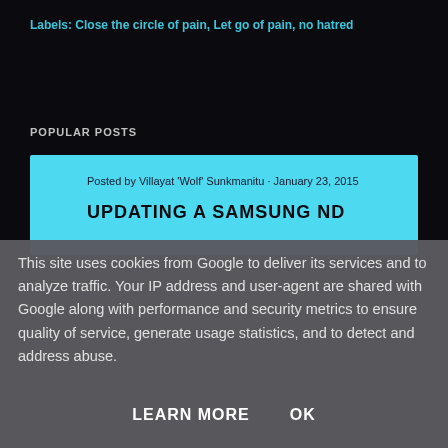Labels: Close the circle of pain, Let go of pain, no hatred
POPULAR POSTS
Posted by Villayat 'Wolf' Sunkmanitu · January 23, 2015
UPDATING A SAMSUNG ND
This site uses cookies from Google to deliver its services and to analyze traffic. Your IP address and user-agent are shared with Google along with performance and security metrics to ensure quality of service, generate usage statistics, and to detect and address abuse.
LEARN MORE    OK